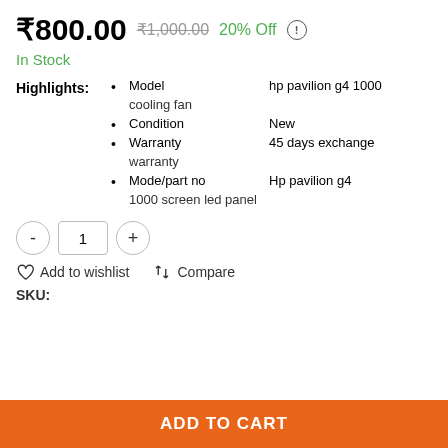₹800.00  ₹1,000.00  20% Off
In Stock
Highlights: • Model  hp pavilion g4 1000 cooling fan • Condition  New • Warranty  45 days exchange warranty • Mode/part no  Hp pavilion g4 1000 screen led panel
- 1 +
Add to wishlist  Compare
SKU:
ADD TO CART